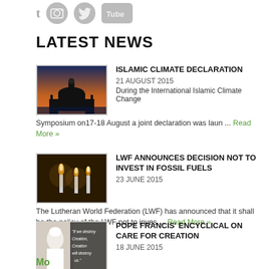[Figure (illustration): Social media icons: tumblr T, Instagram camera, Twitter bird, YouTube button - all in gray]
LATEST NEWS
[Figure (photo): Photo of a mosque/city skyline at dusk with orange/blue sky]
ISLAMIC CLIMATE DECLARATION
21 AUGUST 2015
During the International Islamic Climate Change Symposium on17-18 August a joint declaration was laun ... Read More »
[Figure (photo): Photo of candles/lights in a dark setting]
LWF ANNOUNCES DECISION NOT TO INVEST IN FOSSIL FUELS
23 JUNE 2015
The Lutheran World Federation (LWF) has announced that it shall be the policy of the LWF not to inves ... Read More »
[Figure (photo): Photo of Pope Francis with text overlay: if we destroy Creation, Creation will destroy us]
POPE FRANCIS' ENCYCLICAL ON CARE FOR CREATION
18 JUNE 2015
Pope Francis' Encyclical, Laudato Si, was released. The encyclical, which is among the highest ranki ... Read More »
More